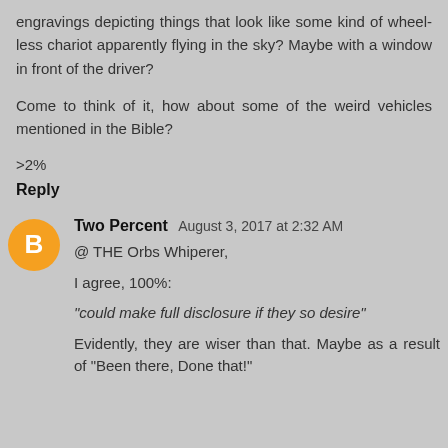engravings depicting things that look like some kind of wheel-less chariot apparently flying in the sky? Maybe with a window in front of the driver?
Come to think of it, how about some of the weird vehicles mentioned in the Bible?
>2%
Reply
Two Percent  August 3, 2017 at 2:32 AM
@ THE Orbs Whiperer,
I agree, 100%:
"could make full disclosure if they so desire"
Evidently, they are wiser than that. Maybe as a result of "Been there, Done that!"